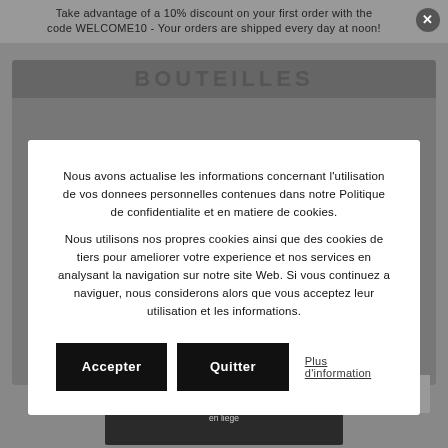Take advantage of a 10% discount on your first order with the code WELCOME10 - Your orders are shipped every day at noon!
[Figure (screenshot): Background website screenshot showing 'BOUTEILLES' header in dark bar, partially obscured by modal overlay]
Nous avons actualise les informations concernant l'utilisation de vos donnees personnelles contenues dans notre Politique de confidentialite et en matiere de cookies. Nous utilisons nos propres cookies ainsi que des cookies de tiers pour ameliorer votre experience et nos services en analysant la navigation sur notre site Web. Si vous continuez a naviguer, nous considerons alors que vous acceptez leur utilisation et les informations.
Accepter
Quitter
Plus d'information